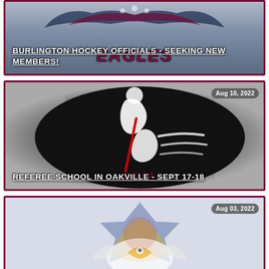[Figure (illustration): Burlington Eagles hockey team banner image with dark blue and maroon eagle logo and stylized wings at top]
BURLINGTON HOCKEY OFFICIALS - SEEKING NEW MEMBERS!
[Figure (illustration): OMHA referee school logo: black oval with stylized white and red hockey referee figure, date badge Aug 10, 2022]
REFEREE SCHOOL IN OAKVILLE - SEPT 17-18
[Figure (illustration): Hockey team logo with cartoon eagle/bird mascot wearing blue and gold helmet, date badge Aug 03, 2022]